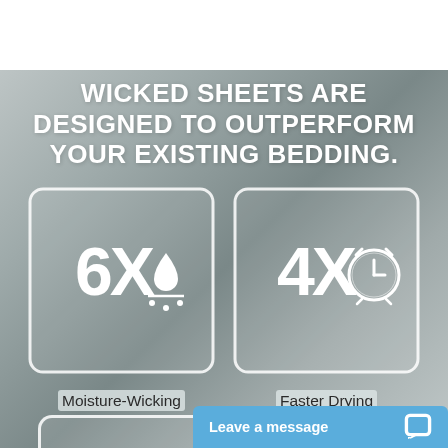WICKED SHEETS ARE DESIGNED TO OUTPERFORM YOUR EXISTING BEDDING.
[Figure (infographic): Two white-bordered rounded square icons on a grey fabric background. Left icon shows '6X' with a water droplet/moisture-wicking symbol. Right icon shows '4X' with an alarm clock/drying symbol.]
Moisture-Wicking
Faster Drying
Leave a message